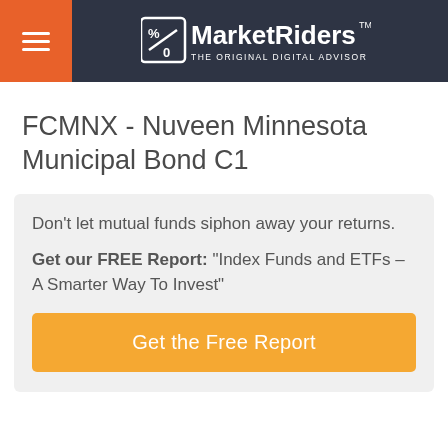MarketRiders — THE ORIGINAL DIGITAL ADVISOR
FCMNX - Nuveen Minnesota Municipal Bond C1
Don't let mutual funds siphon away your returns.
Get our FREE Report: "Index Funds and ETFs – A Smarter Way To Invest"
Get the Free Report